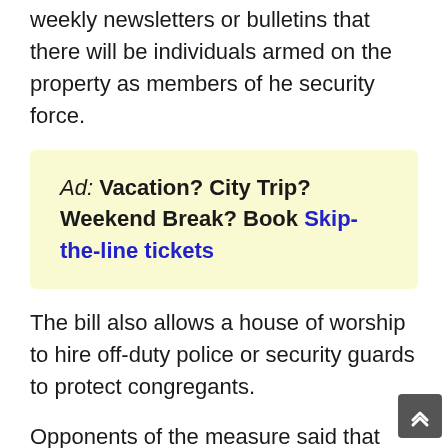weekly newsletters or bulletins that there will be individuals armed on the property as members of he security force.
Ad: Vacation? City Trip? Weekend Break? Book Skip-the-line tickets
The bill also allows a house of worship to hire off-duty police or security guards to protect congregants.
Opponents of the measure said that churches, synagogues, mosques and other houses of worship should remain free of guns and violence and should focus on